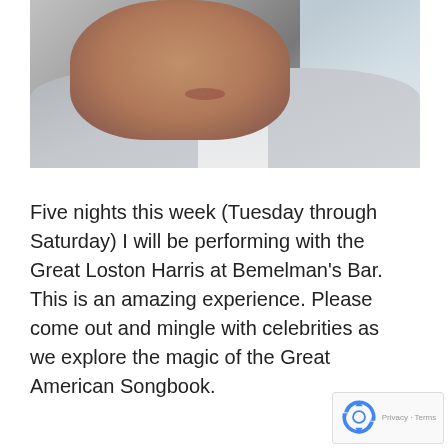[Figure (photo): Close-up photo of a man wearing a light gray suit jacket and white shirt, photographed from chest up, face partially visible, with a bright window in the background]
Five nights this week (Tuesday through Saturday) I will be performing with the Great Loston Harris at Bemelman's Bar. This is an amazing experience. Please come out and mingle with celebrities as we explore the magic of the Great American Songbook.